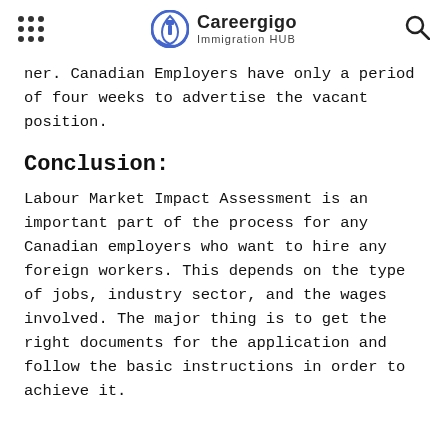Careergigo Immigration HUB
ner. Canadian Employers have only a period of four weeks to advertise the vacant position.
Conclusion:
Labour Market Impact Assessment is an important part of the process for any Canadian employers who want to hire any foreign workers. This depends on the type of jobs, industry sector, and the wages involved. The major thing is to get the right documents for the application and follow the basic instructions in order to achieve it.